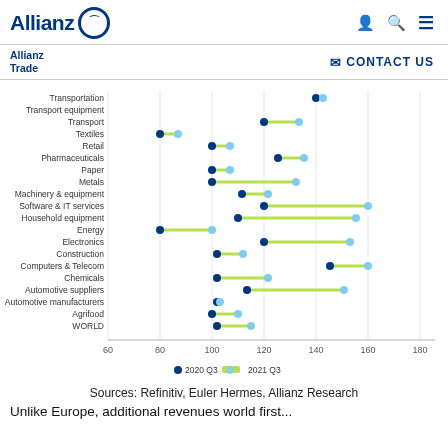Allianz Trade | CONTACT US
[Figure (scatter-plot): Export revenues (index 100 = 2019)]
Sources: Refinitiv, Euler Hermes, Allianz Research
Unlike Europe, additional revenues world first...